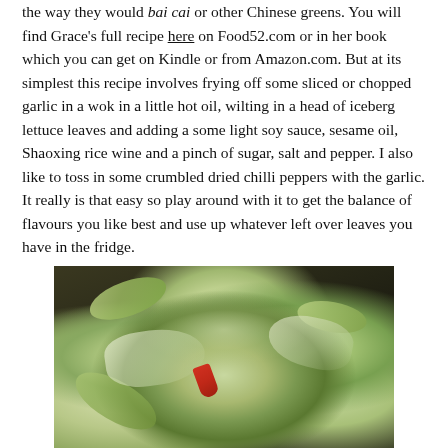the way they would bai cai or other Chinese greens. You will find Grace's full recipe here on Food52.com or in her book which you can get on Kindle or from Amazon.com. But at its simplest this recipe involves frying off some sliced or chopped garlic in a wok in a little hot oil, wilting in a head of iceberg lettuce leaves and adding a some light soy sauce, sesame oil, Shaoxing rice wine and a pinch of sugar, salt and pepper. I also like to toss in some crumbled dried chilli peppers with the garlic. It really is that easy so play around with it to get the balance of flavours you like best and use up whatever left over leaves you have in the fridge.
[Figure (photo): Photo of stir-fried iceberg lettuce with garlic and red chilli in a dark wok, showing wilted pale green lettuce leaves with a piece of red chilli pepper visible]